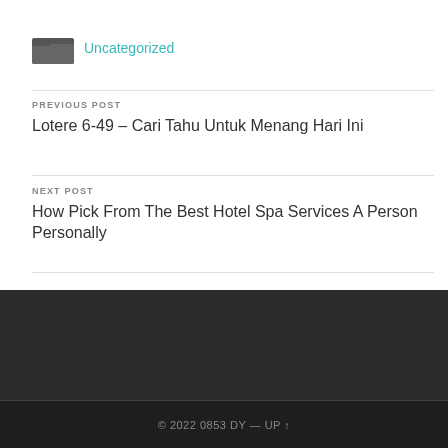Uncategorized
PREVIOUS POST
Lotere 6-49 – Cari Tahu Untuk Menang Hari Ini
NEXT POST
How Pick From The Best Hotel Spa Services A Person Personally
© 2022 0853 DY — UP ↑